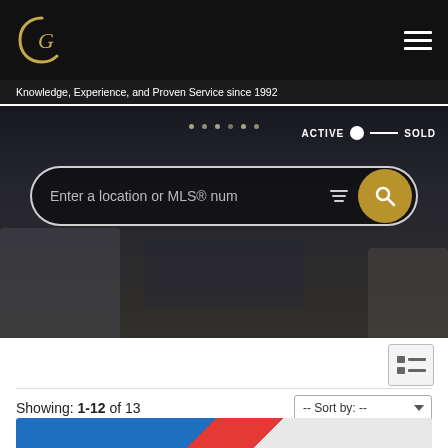[Figure (logo): GS monogram logo in gold on black background]
Knowledge, Experience, and Proven Service since 1992
[Figure (screenshot): Hero image of a modern living room interior, dark toned, with a search bar overlay. Toggle shows ACTIVE / SOLD. Search placeholder: Enter a location or MLS® num]
[Figure (other): View toggle button (list/grid view)]
Showing: 1-12 of 13
201 3234 HOLGATE LANE IN COLWOOD: CO LAGOON CONDO FOR SALE : MLS®# 896746
[Figure (photo): Property listing image strip showing blue and red diagonal design]